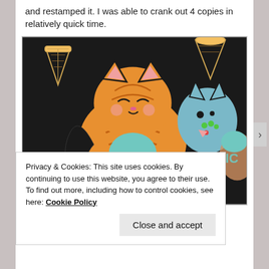and restamped it. I was able to crank out 4 copies in relatively quick time.
[Figure (photo): Close-up photo of decorated cookies shaped like cats holding ice cream cones, with colorful icing details on a black background with more ice cream cone designs]
Privacy & Cookies: This site uses cookies. By continuing to use this website, you agree to their use.
To find out more, including how to control cookies, see here: Cookie Policy